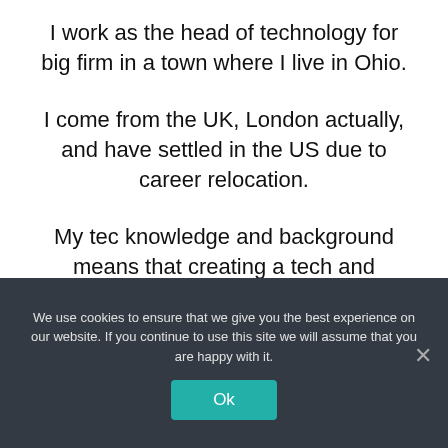I work as the head of technology for big firm in a town where I live in Ohio.
I come from the UK, London actually, and have settled in the US due to career relocation.
My tec knowledge and background means that creating a tech and
We use cookies to ensure that we give you the best experience on our website. If you continue to use this site we will assume that you are happy with it.